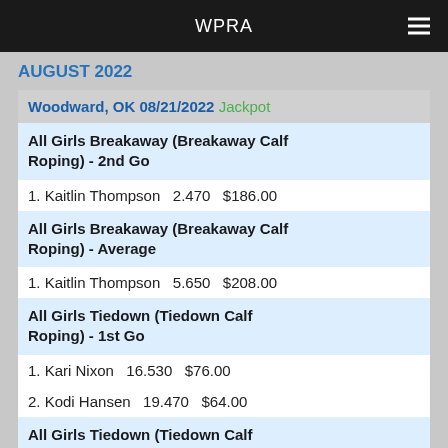WPRA
AUGUST 2022
Woodward, OK 08/21/2022 Jackpot
All Girls Breakaway (Breakaway Calf Roping) - 2nd Go
1. Kaitlin Thompson   2.470   $186.00
All Girls Breakaway (Breakaway Calf Roping) - Average
1. Kaitlin Thompson   5.650   $208.00
All Girls Tiedown (Tiedown Calf Roping) - 1st Go
1. Kari Nixon   16.530   $76.00
2. Kodi Hansen   19.470   $64.00
All Girls Tiedown (Tiedown Calf Roping) - 2nd Go